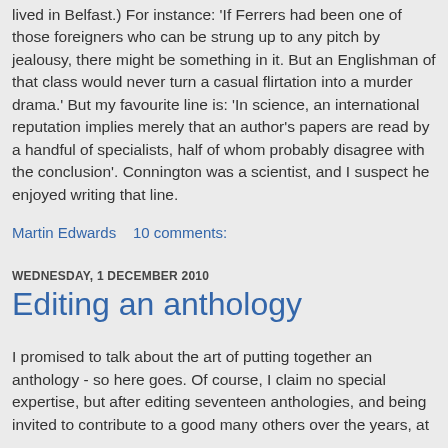lived in Belfast.) For instance: 'If Ferrers had been one of those foreigners who can be strung up to any pitch by jealousy, there might be something in it. But an Englishman of that class would never turn a casual flirtation into a murder drama.' But my favourite line is: 'In science, an international reputation implies merely that an author's papers are read by a handful of specialists, half of whom probably disagree with the conclusion'. Connington was a scientist, and I suspect he enjoyed writing that line.
Martin Edwards    10 comments:
WEDNESDAY, 1 DECEMBER 2010
Editing an anthology
I promised to talk about the art of putting together an anthology - so here goes. Of course, I claim no special expertise, but after editing seventeen anthologies, and being invited to contribute to a good many others over the years, at